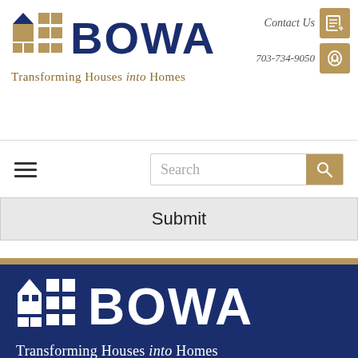[Figure (logo): BOWA logo with house/grid icon and text 'BOWA' in dark navy blue, with tagline 'Transforming Houses into Homes' in gold/tan color]
Contact Us
703-734-9050
Search
Submit
[Figure (logo): BOWA logo in white on dark navy blue background with tagline 'Transforming Houses into Homes' and 'Metro D.C. Area']